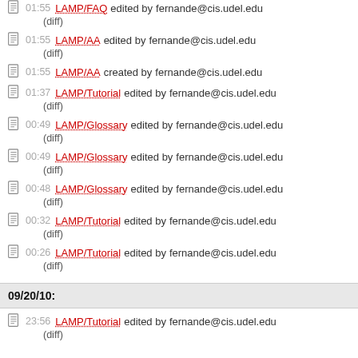01:55 LAMP/FAQ edited by fernande@cis.udel.edu (diff)
01:55 LAMP/AA edited by fernande@cis.udel.edu (diff)
01:55 LAMP/AA created by fernande@cis.udel.edu
01:37 LAMP/Tutorial edited by fernande@cis.udel.edu (diff)
00:49 LAMP/Glossary edited by fernande@cis.udel.edu (diff)
00:49 LAMP/Glossary edited by fernande@cis.udel.edu (diff)
00:48 LAMP/Glossary edited by fernande@cis.udel.edu (diff)
00:32 LAMP/Tutorial edited by fernande@cis.udel.edu (diff)
00:26 LAMP/Tutorial edited by fernande@cis.udel.edu (diff)
09/20/10:
23:56 LAMP/Tutorial edited by fernande@cis.udel.edu (diff)